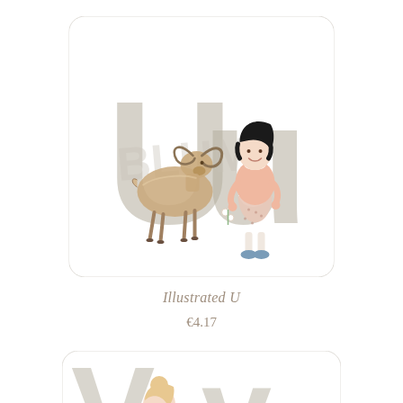[Figure (illustration): Illustrated alphabet card for letter U. A white card with rounded corners showing a large muted khaki/taupe letter U in the background. On the left side is a watercolor ram/mouflon with curved horns. On the right is an illustrated girl with black short hair, wearing a pink top and floral skirt with blue shoes, holding small white flowers. A watermark text 'BLUM' is faintly visible across the center.]
Illustrated U
€4.17
[Figure (illustration): Partially visible second illustrated alphabet card at bottom of page, showing a small girl with a bun hairstyle in white clothes, and a large taupe letter shape in the background. Only the top portion of this card is visible.]